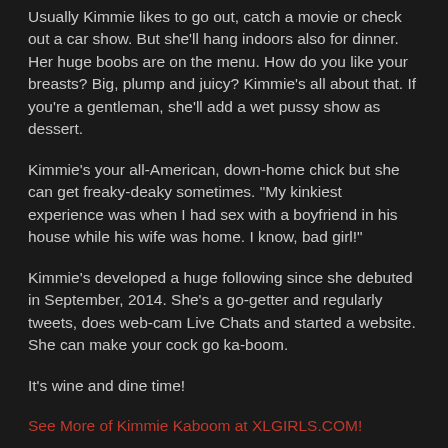Usually Kimmie likes to go out, catch a movie or check out a car show. But she'll hang indoors also for dinner. Her huge boobs are on the menu. How do you like your breasts? Big, plump and juicy? Kimmie's all about that. If you're a gentleman, she'll add a wet pussy show as dessert.
Kimmie's your all-American, down-home chick but she can get freaky-deaky sometimes. "My kinkiest experience was when I had sex with a boyfriend in his house while his wife was home. I know, bad girl!"
Kimmie's developed a huge following since she debuted in September, 2014. She's a go-getter and regularly tweets, does web-cam Live Chats and started a website. She can make your cock go ka-boom.
It's wine and dine time!
See More of Kimmie Kaboom at XLGIRLS.COM!